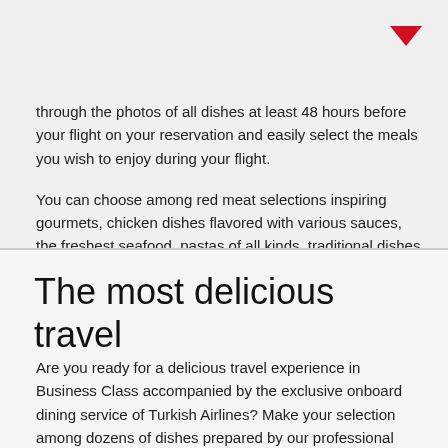[Figure (other): Red downward chevron/arrow icon in top right corner]
through the photos of all dishes at least 48 hours before your flight on your reservation and easily select the meals you wish to enjoy during your flight.
You can choose among red meat selections inspiring gourmets, chicken dishes flavored with various sauces, the freshest seafood, pastas of all kinds, traditional dishes from Turkish cuisine and excellent choices from world cuisine.
The most delicious travel
Are you ready for a delicious travel experience in Business Class accompanied by the exclusive onboard dining service of Turkish Airlines? Make your selection among dozens of dishes prepared by our professional chefs with the freshest ingredients and enjoy delicious moments above the clouds.